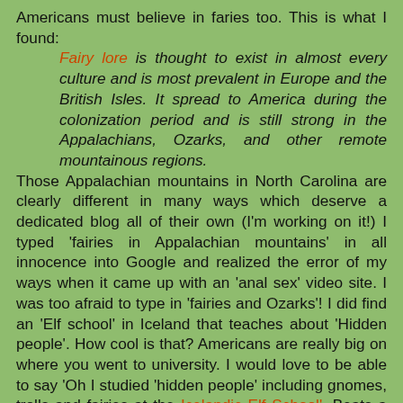Americans must believe in faries too. This is what I found: Fairy lore is thought to exist in almost every culture and is most prevalent in Europe and the British Isles. It spread to America during the colonization period and is still strong in the Appalachians, Ozarks, and other remote mountainous regions. Those Appalachian mountains in North Carolina are clearly different in many ways which deserve a dedicated blog all of their own (I'm working on it!) I typed 'fairies in Appalachian mountains' in all innocence into Google and realized the error of my ways when it came up with an 'anal sex' video site. I was too afraid to type in 'fairies and Ozarks'! I did find an 'Elf school' in Iceland that teaches about 'Hidden people'. How cool is that? Americans are really big on where you went to university. I would love to be able to say 'Oh I studied 'hidden people' including gnomes, trolls and fairies at the Icelandic Elf School'. Beats a Mickey Mouse Degree from the State University of Hicksville! According to Magnus who runs Elf School only 4% of Americans believe in fairies. They accept wings made of feathers but not fairy wings. So, should I have sat my three year old daughter down, reprimanded her for being unfocussed and told her firmly